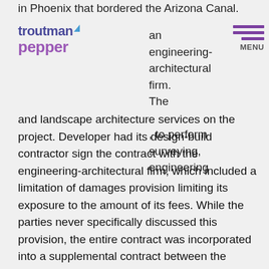in Phoenix that bordered the Arizona Canal.
[Figure (logo): Troutman Pepper law firm logo with stylized arrow graphic]
an engineering-architectural firm. The [firm], to perform surveying, engineering and landscape architecture services on the project. Developer had its design-build contractor sign the contract with the engineering-architectural firm, which included a limitation of damages provision limiting its exposure to the amount of its fees. While the parties never specifically discussed this provision, the entire contract was incorporated into a supplemental contract between the Developer and the engineering architectural firm approximately two years later.
The engineering-architectural firm improperly performed a survey by failing to accurately identify existing right-of-ways. Thereafter, the firm prepared